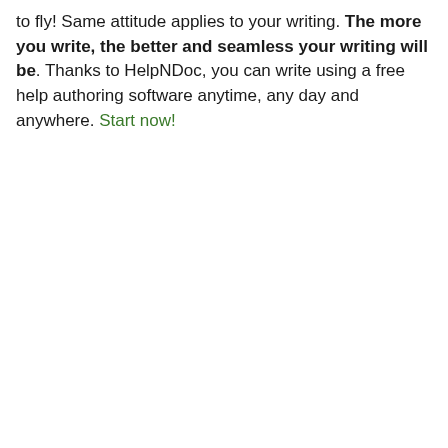to fly! Same attitude applies to your writing. The more you write, the better and seamless your writing will be. Thanks to HelpNDoc, you can write using a free help authoring software anytime, any day and anywhere. Start now!